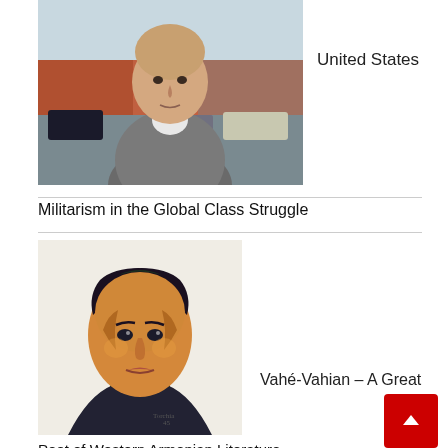[Figure (photo): Outdoor photo of a middle-aged bald man in a grey cardigan standing on a city street with cars and buildings in background]
United States
Militarism in the Global Class Struggle
[Figure (illustration): Colorful painted portrait of a young man with dark hair wearing a green shirt and dark tie, artistic style]
Vahé-Vahian – A Great
Poet of Western Armenian Literature